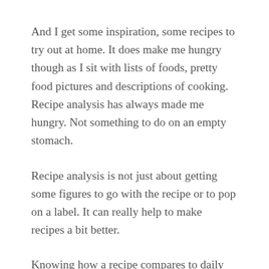And I get some inspiration, some recipes to try out at home. It does make me hungry though as I sit with lists of foods, pretty food pictures and descriptions of cooking. Recipe analysis has always made me hungry. Not something to do on an empty stomach.
Recipe analysis is not just about getting some figures to go with the recipe or to pop on a label. It can really help to make recipes a bit better.
Knowing how a recipe compares to daily recommendations, the contribution it makes to someone's daily intakes, gives a developer an opportunity to make the recipe a bit better. If